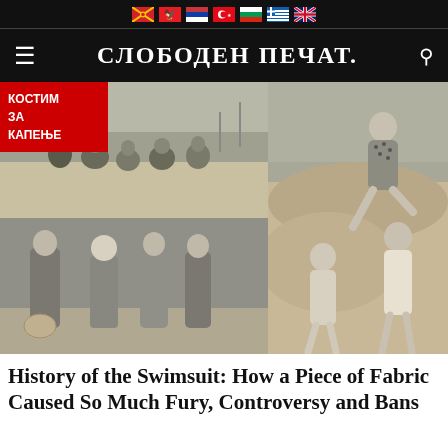СЛОБОДЕН ПЕЧАТ.
[Figure (photo): Collage of three vintage black-and-white beach photographs: top-left shows a group of people sitting on a beach, bottom-left shows three women and a bald man standing together at a beach, right shows two women in swimsuits posing on rocky terrain.]
History of the Swimsuit: How a Piece of Fabric Caused So Much Fury, Controversy and Bans